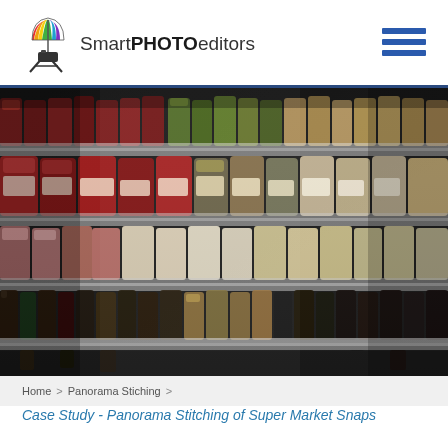SmartPHOTOeditors
[Figure (photo): Panoramic photo of a supermarket shelf filled with rows of jars, condiments, sauces, and bottled goods in multiple shelf levels, viewed at an angle showing the depth of the aisle.]
Home > Panorama Stiching >
Case Study - Panorama Stitching of Super Market Snaps